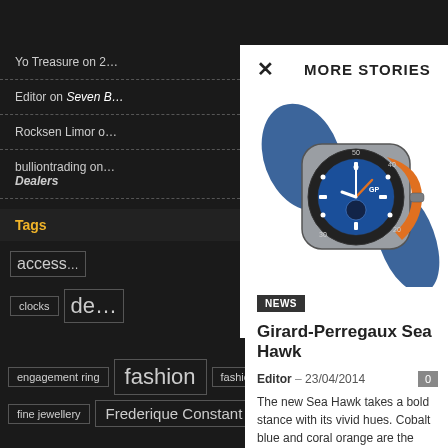Yo Treasure on 2…
Editor on Seven B…
Rocksen Limor o…
bulliontrading on … Dealers
Tags
MORE STORIES
[Figure (photo): Girard-Perregaux Sea Hawk dive watch with blue dial, orange bezel detail, and blue rubber strap]
NEWS
Girard-Perregaux Sea Hawk
Editor  –  23/04/2014
The new Sea Hawk takes a bold stance with its vivid hues. Cobalt blue and coral orange are the colors chosen for the dial,...
engagement ring
fashion
fashion jewellery
fine jewellery
Frederique Constant
gems